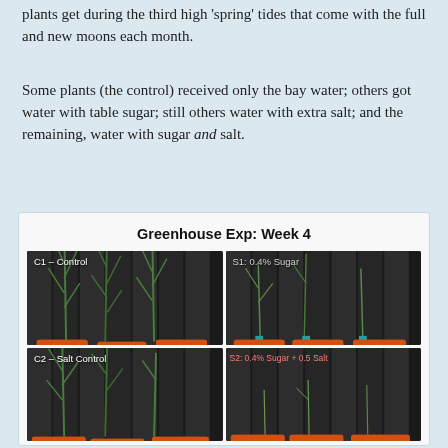plants get during the third high 'spring' tides that come with the full and new moons each month.
Some plants (the control) received only the bay water; others got water with table sugar; still others water with extra salt; and the remaining, water with sugar and salt.
[Figure (photo): Greenhouse experiment Week 4 showing four panels of plants in orange buckets: C1 - Control (tall healthy green plants), S1: 0.4% Sugar (shorter sparse plants with teal markers), C2 – Salt Control (medium height plants), S2: 0.4% Sugar + 0.5 Salt (very short sparse plants in orange buckets).]